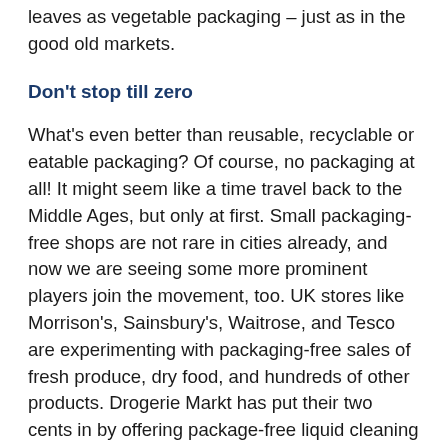leaves as vegetable packaging – just as in the good old markets.
Don't stop till zero
What's even better than reusable, recyclable or eatable packaging? Of course, no packaging at all! It might seem like a time travel back to the Middle Ages, but only at first. Small packaging-free shops are not rare in cities already, and now we are seeing some more prominent players join the movement, too. UK stores like Morrison's, Sainsbury's, Waitrose, and Tesco are experimenting with packaging-free sales of fresh produce, dry food, and hundreds of other products. Drogerie Markt has put their two cents in by offering package-free liquid cleaning material in their stores in Prague, in the Czech Republic. And if a healthy Earth is not a strong enough motivator